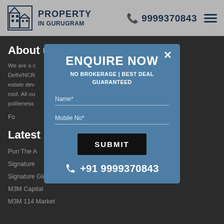PROPERTY IN GURUGRAM | 9999370843
About u
We are a ... m & Delhi/NCR ... og real estate dev ... one roof. All ou ... od politeness ...
Fo ...
Latest B
Puri The A
Signature
Signature Global City 63A
M3M Capital
M3M 114 Market
[Figure (screenshot): Enquire Now modal popup with NO BROKERAGE | BEST DEAL GUARANTEED, Name* field, Mobile No* field, SUBMIT button, and phone +91 9999370843]
ENQUIRE NOW
NO BROKERAGE | BEST DEAL GUARANTEED
Name*
Mobile No*
SUBMIT
+91 9999370843